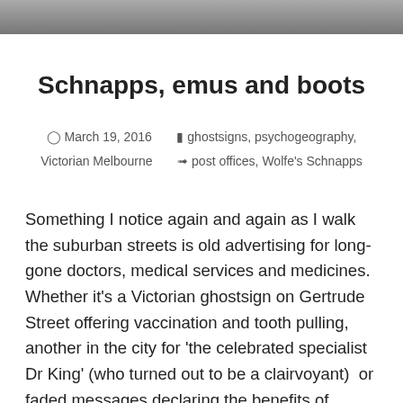[Figure (photo): Partial photo at top of page, appears to be a building or urban scene in grayscale]
Schnapps, emus and boots
March 19, 2016   ghostsigns, psychogeography, Victorian Melbourne   post offices, Wolfe's Schnapps
Something I notice again and again as I walk the suburban streets is old advertising for long-gone doctors, medical services and medicines. Whether it's a Victorian ghostsign on Gertrude Street offering vaccination and tooth pulling, another in the city for 'the celebrated specialist Dr King' (who turned out to be a clairvoyant)  or faded messages declaring the benefits of products like Otis Tonic Tablets,  the suburbs are rich in evidence of the medicinal options